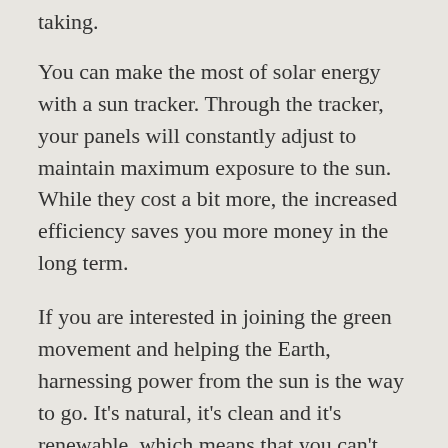taking.
You can make the most of solar energy with a sun tracker. Through the tracker, your panels will constantly adjust to maintain maximum exposure to the sun. While they cost a bit more, the increased efficiency saves you more money in the long term.
If you are interested in joining the green movement and helping the Earth, harnessing power from the sun is the way to go. It’s natural, it’s clean and it’s renewable, which means that you can’t use it all up. Therefore, not only can solar power help you save money on your electricity bill, it is also good for the environment.
When researching for a good solar panel installer, don’t forget the Internet. Yes you may start out in the phone book, but the Internet will give you a lot more